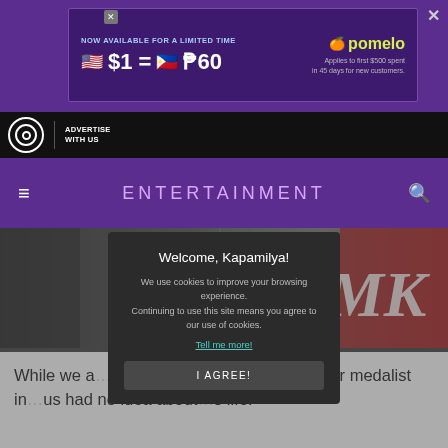[Figure (screenshot): Advertisement banner for Pomelo: 'NOW AVAILABLE FOR A LIMITED TIME $1 = ₱60 Applies to first $500 spent in 45 days for new customers.' with Pomelo logo]
[Figure (logo): ABS-CBN logo with 'ADVERTISE WITH US' navigation bar]
ENTERTAINMENT
[Figure (photo): MMK TV show banner with 'MMK' text overlay]
While we a...tstanding flyweight w...s a silver medalist in...us had no idea about...s life.
Welcome, Kapamilya!
We use cookies to improve your browsing experience. Continuing to use this site means you agree to our use of cookies.
Tell me more!
I AGREE!